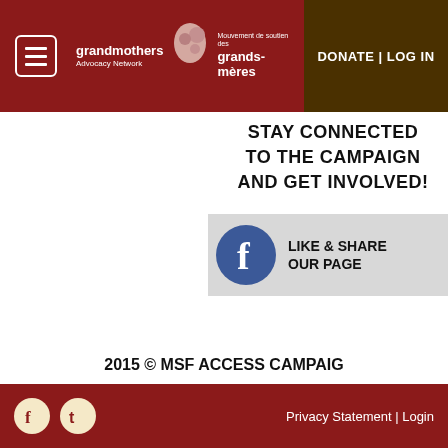grandmothers Advocacy Network | Mouvement de soutien des grands-mères | DONATE | LOG IN
STAY CONNECTED TO THE CAMPAIGN AND GET INVOLVED!
[Figure (other): Facebook Like & Share Our Page button with blue Facebook circle logo on grey background]
2015 © MSF ACCESS CAMPAIGN
Privacy Statement | Login